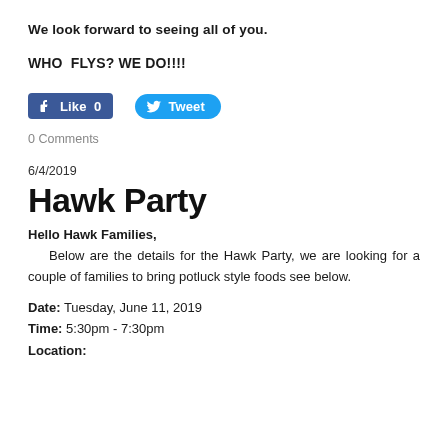We look forward to seeing all of you.
WHO  FLYS? WE DO!!!!
[Figure (screenshot): Facebook Like button showing '0' likes and a Twitter Tweet button, rendered as social media share widgets]
0 Comments
6/4/2019
Hawk Party
Hello Hawk Families,
Below are the details for the Hawk Party, we are looking for a couple of families to bring potluck style foods see below.
Date: Tuesday, June 11, 2019
Time: 5:30pm - 7:30pm
Location: